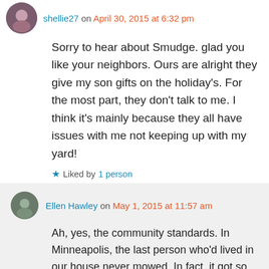shellie27 on April 30, 2015 at 6:32 pm
Sorry to hear about Smudge. glad you like your neighbors. Ours are alright they give my son gifts on the holiday's. For the most part, they don't talk to me. I think it's mainly because they all have issues with me not keeping up with my yard!
★ Liked by 1 person
↳ Reply
Ellen Hawley on May 1, 2015 at 11:57 am
Ah, yes, the community standards. In Minneapolis, the last person who'd lived in our house never mowed. In fact, it got so